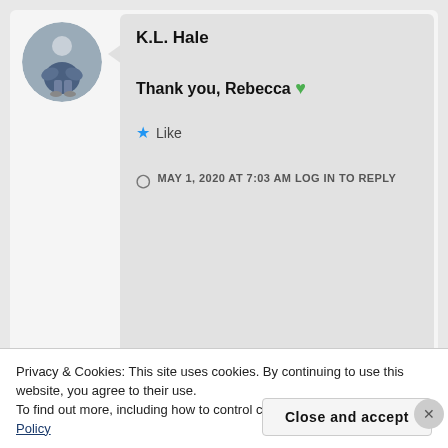[Figure (photo): Circular avatar photo of a person sitting outdoors in casual clothing]
K.L. Hale
Thank you, Rebecca 💚
★ Like
MAY 1, 2020 AT 7:03 AM LOG IN TO REPLY
Advertisements
Privacy & Cookies: This site uses cookies. By continuing to use this website, you agree to their use.
To find out more, including how to control cookies, see here: Cookie Policy
Close and accept